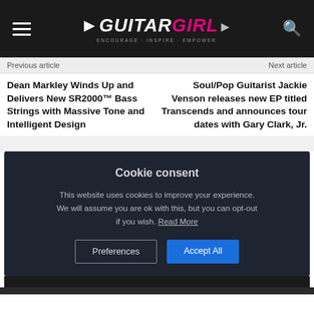Guitar Girl Magazine
Previous article
Next article
Dean Markley Winds Up and Delivers New SR2000™ Bass Strings with Massive Tone and Intelligent Design
Soul/Pop Guitarist Jackie Venson releases new EP titled Transcends and announces tour dates with Gary Clark, Jr.
Cookie consent
This website uses cookies to improve your experience. We will assume you are ok with this, but you can opt-out if you wish. Read More